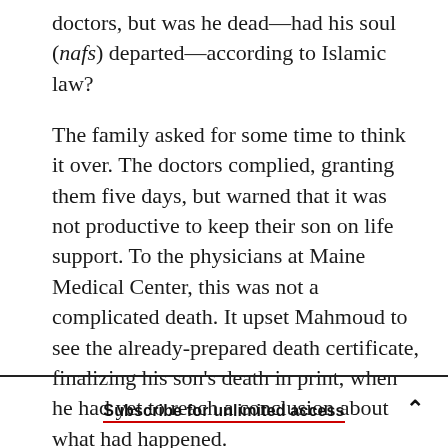doctors, but was he dead—had his soul (nafs) departed—according to Islamic law?
The family asked for some time to think it over. The doctors complied, granting them five days, but warned that it was not productive to keep their son on life support. To the physicians at Maine Medical Center, this was not a complicated death. It upset Mahmoud to see the already-prepared death certificate, finalizing his son's death in print, when he had yet to reach a conclusion about what had happened.
Subscribe for unlimited access